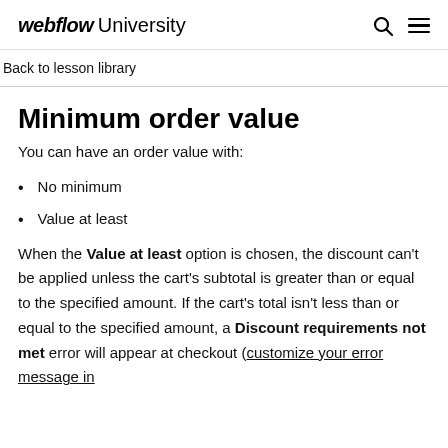webflow University
Back to lesson library
Minimum order value
You can have an order value with:
No minimum
Value at least
When the Value at least option is chosen, the discount can't be applied unless the cart's subtotal is greater than or equal to the specified amount. If the cart's total isn't less than or equal to the specified amount, a Discount requirements not met error will appear at checkout (customize your error message in Checkout settings).